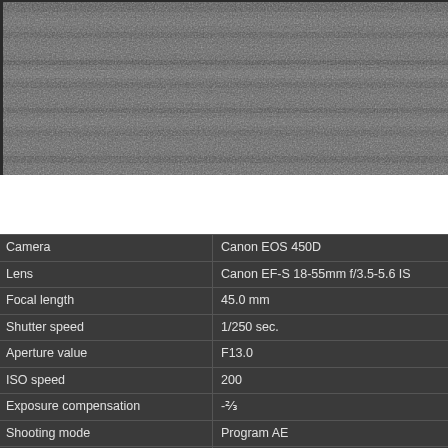[Figure (photo): Grayscale/monochrome photograph of water surface or landscape, showing horizontal bands of dark gray tones suggesting water ripples or texture. The image is partially cropped at top.]
| Property | Value |
| --- | --- |
| Camera | Canon EOS 450D |
| Lens | Canon EF-S 18-55mm f/3.5-5.6 IS |
| Focal length | 45.0 mm |
| Shutter speed | 1/250 sec. |
| Aperture value | F13.0 |
| ISO speed | 200 |
| Exposure compensation | -⅔ |
| Shooting mode | Program AE |
| White balance mode | Daylight |
| Picture style | Monochrome |
| Sharpness | 3 |
| Contrast | 0 |
| Saturation |  |
| Colour tone |  |